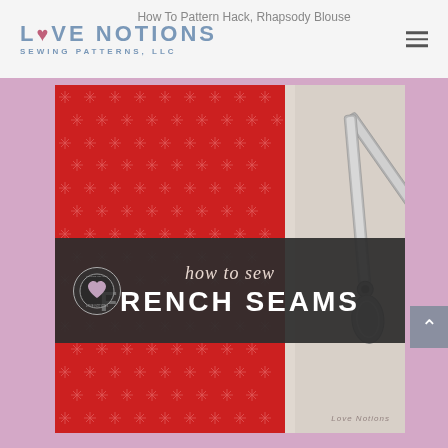How To Pattern Hack, Rhapsody Blouse
[Figure (logo): Love Notions Sewing Patterns, LLC logo with heart icon and blue text]
[Figure (photo): Photo of red star-patterned fabric pieces laid flat with silver fabric scissors on a cream background, overlaid with a dark banner reading 'how to sew FRENCH SEAMS' with Love Notions Sewing School badge]
how to sew FRENCH SEAMS